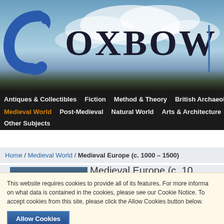[Figure (screenshot): Oxbow Books website header banner with sky/clouds background, Oxbow logo with blue archer symbol and dark OXBOW text]
Antiques & Collectibles  Fiction  Method & Theory  British Archaeology  Medieval World  Post-Medieval  Natural World  Arts & Architecture  Other Subjects
Home / Medieval World / Medieval Europe (c. 1000 – 1500)
BROWSE BY
CATEGORY
Medieval Europe (c. 10
All aspects of the Middle Ages through
This website requires cookies to provide all of its features. For more information on what data is contained in the cookies, please see our Cookie Notice. To accept cookies from this site, please click the Allow Cookies button below.
Allow Cookies